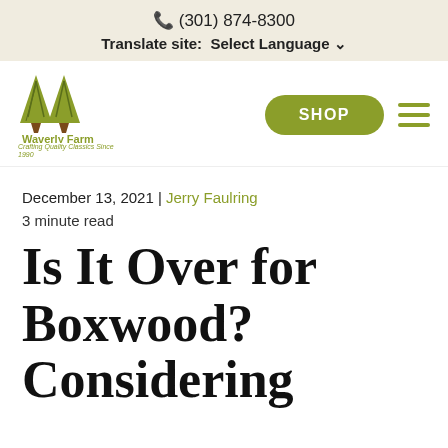📞 (301) 874-8300
Translate site: Select Language
[Figure (logo): Waverly Farm logo with two green triangular tree shapes and brown trunk shapes, text 'Waverly Farm' below]
[Figure (other): SHOP button (green pill-shaped) and hamburger menu icon]
December 13, 2021 | Jerry Faulring
3 minute read
Is It Over for Boxwood? Considering